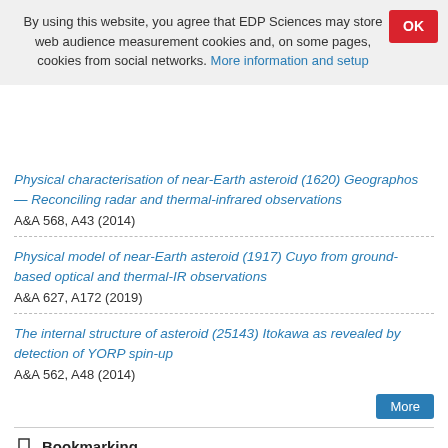By using this website, you agree that EDP Sciences may store web audience measurement cookies and, on some pages, cookies from social networks. More information and setup
Physical characterisation of near-Earth asteroid (1620) Geographos — Reconciling radar and thermal-infrared observations
A&A 568, A43 (2014)
Physical model of near-Earth asteroid (1917) Cuyo from ground-based optical and thermal-IR observations
A&A 627, A172 (2019)
The internal structure of asteroid (25143) Itokawa as revealed by detection of YORP spin-up
A&A 562, A48 (2014)
More
Bookmarking